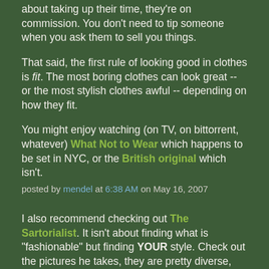about taking up their time, they're on commission. You don't need to tip someone when you ask them to sell you things.
That said, the first rule of looking good in clothes is fit. The most boring clothes can look great -- or the most stylish clothes awful -- depending on how they fit.
You might enjoy watching (on TV, on bittorrent, whatever) What Not to Wear which happens to be set in NYC, or the British original which isn't.
posted by mendel at 6:38 AM on May 16, 2007
I also recommend checking out The Sartorialist. It isn't about finding what is "fashionable" but finding YOUR style. Check out the pictures he takes, they are pretty diverse, and then from the ones that appeal to you, really narrow down WHY: colors? how they layer things? particular accessories?